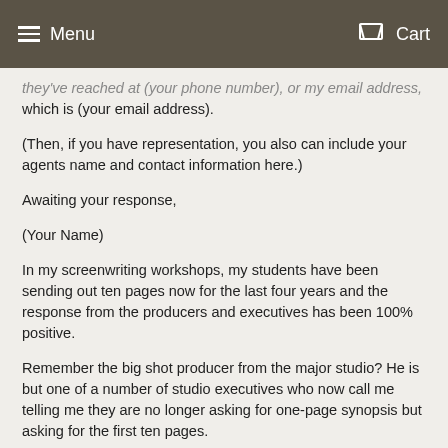Menu   Cart
they've reached at (your phone number), or my email address, which is (your email address).
(Then, if you have representation, you also can include your agents name and contact information here.)
Awaiting your response,
(Your Name)
In my screenwriting workshops, my students have been sending out ten pages now for the last four years and the response from the producers and executives has been 100% positive.
Remember the big shot producer from the major studio? He is but one of a number of studio executives who now call me telling me they are no longer asking for one-page synopsis but asking for the first ten pages.
So now, dammit, don't you screw up! Those first ten pages better be dynamite!